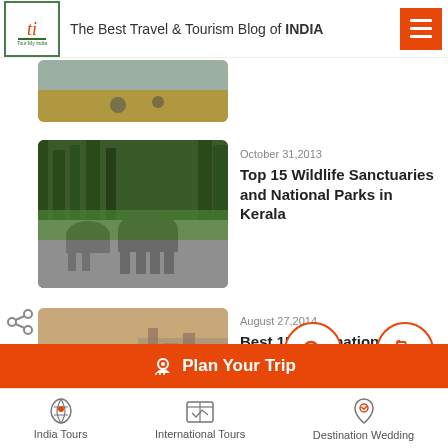The Best Travel & Tourism Blog of INDIA
[Figure (photo): Partial cropped beach/sand scene with people, cut off at top]
[Figure (photo): Elephants crossing a road in a forested area in Kerala]
October 31,2013
Top 15 Wildlife Sanctuaries and National Parks in Kerala
[Figure (photo): Woman sitting on a colorful boat on a river at sunset/dusk, Indian cityscape in background]
August 27,2014
Best 15 Destinations in India for Solo Women Travellers
Plan Your Trip
India Tours   International Tours   Destination Wedding